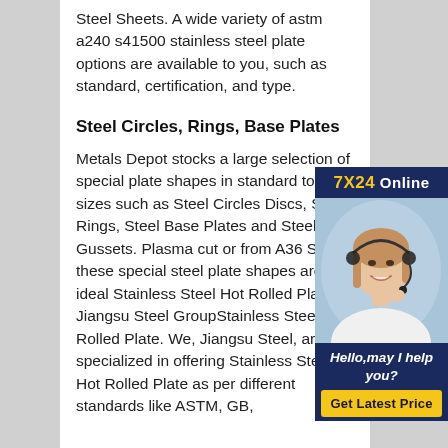Steel Sheets. A wide variety of astm a240 s41500 stainless steel plate options are available to you, such as standard, certification, and type.
Steel Circles, Rings, Base Plates
Metals Depot stocks a large selection of special plate shapes in standard ready to ship sizes such as Steel Circles/Discs, Steel Rings, Steel Base Plates and Steel Gussets. Plasma cut or from A36 Steel, these special steel plate shapes are ideal Stainless Steel Hot Rolled Plate-Jiangsu Steel GroupStainless Steel Hot Rolled Plate. We, Jiangsu Steel, are specialized in offering Stainless Steel Hot Rolled Plate as per different standards like ASTM, GB,
[Figure (photo): Advertisement panel with '7X24 Online' header in gold/navy, photo of a smiling woman with headset (customer service representative), tagline 'Hello,may I help you?' in italic white text on navy background, and a gold 'Get Latest Price' button.]